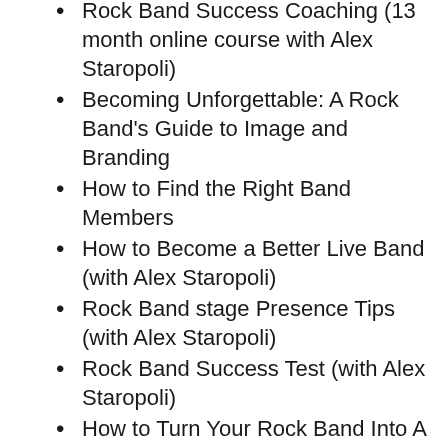Rock Band Success Coaching (13 month online course with Alex Staropoli)
Becoming Unforgettable: A Rock Band's Guide to Image and Branding
How to Find the Right Band Members
How to Become a Better Live Band (with Alex Staropoli)
Rock Band stage Presence Tips (with Alex Staropoli)
Rock Band Success Test (with Alex Staropoli)
How to Turn Your Rock Band Into A Success (with Alex Staropoli)
Incredible Presence: Evaluating Your Band's Image and Performance
Rockstar Mindset's Band Booster Pack
Recording Your Album (with James Scott)